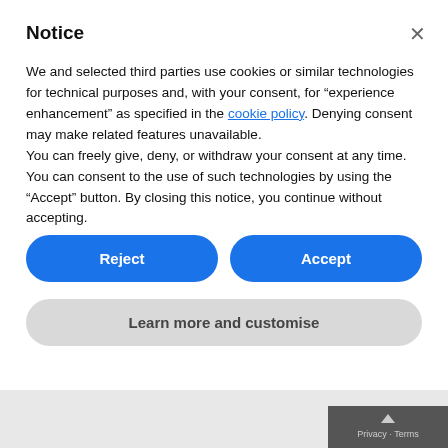Notice
We and selected third parties use cookies or similar technologies for technical purposes and, with your consent, for “experience enhancement” as specified in the cookie policy. Denying consent may make related features unavailable.
You can freely give, deny, or withdraw your consent at any time.
You can consent to the use of such technologies by using the “Accept” button. By closing this notice, you continue without accepting.
Reject
Accept
Learn more and customise
Privacy · Terms